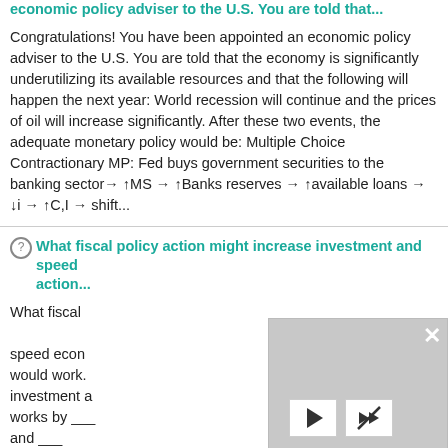economic policy adviser to the U.S. You are told that...
Congratulations! You have been appointed an economic policy adviser to the U.S. You are told that the economy is significantly underutilizing its available resources and that the following will happen the next year: World recession will continue and the prices of oil will increase significantly. After these two events, the adequate monetary policy would be: Multiple Choice Contractionary MP: Fed buys government securities to the banking sector→ ↑MS → ↑Banks reserves → ↑available loans → ↓i → ↑C,I → shift...
What fiscal policy action might increase investment and speed ... action...
What fiscal ... speed econ... would work... investment a... works by ___ and ___